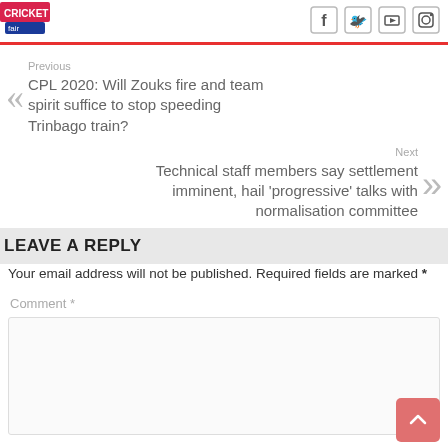[Figure (logo): Website logo top left, partially visible]
[Figure (infographic): Social media icons: Facebook, Twitter, YouTube, Instagram]
Previous
CPL 2020: Will Zouks fire and team spirit suffice to stop speeding Trinbago train?
Next
Technical staff members say settlement imminent, hail 'progressive' talks with normalisation committee
LEAVE A REPLY
Your email address will not be published. Required fields are marked *
Comment *